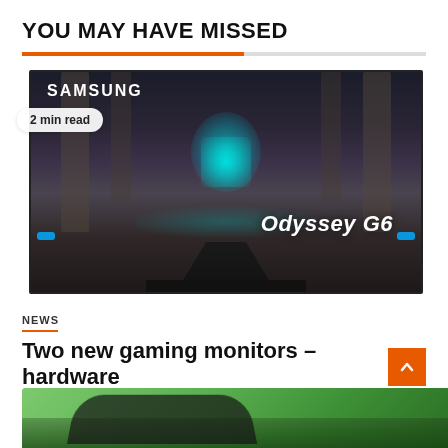YOU MAY HAVE MISSED
[Figure (photo): Samsung Odyssey G6 gaming monitor displaying a dark fantasy game scene with cyan glowing crystal artifact, with 'SAMSUNG' branding at top left, 'Odyssey G6' text on screen, and blue accent lights at bottom corners. A badge reads '2 min read'.]
NEWS
Two new gaming monitors – hardware
August 24, 2022   Ebenezer Robbins
[Figure (photo): Partial view of another article image showing a green background with dark object]